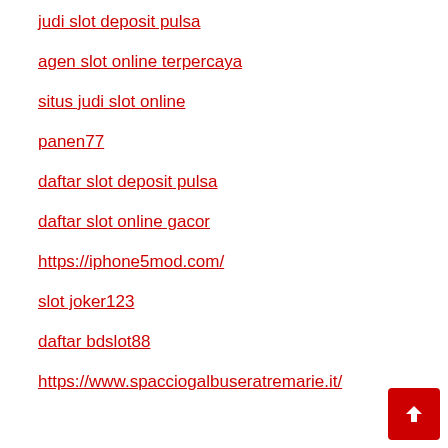judi slot deposit pulsa
agen slot online terpercaya
situs judi slot online
panen77
daftar slot deposit pulsa
daftar slot online gacor
https://iphone5mod.com/
slot joker123
daftar bdslot88
https://www.spacciogalbuseratremarie.it/